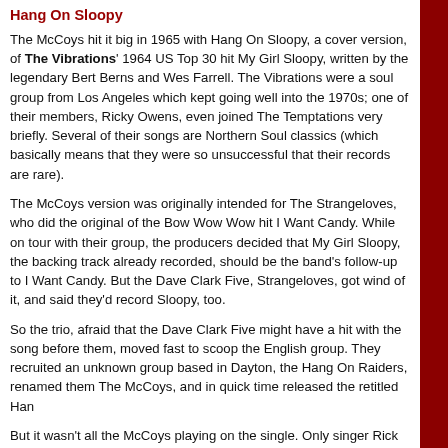Hang On Sloopy
The McCoys hit it big in 1965 with Hang On Sloopy, a cover version, of The Vibrations' 1964 US Top 30 hit My Girl Sloopy, written by the legendary Bert Berns and Wes Farrell. The Vibrations were a soul group from Los Angeles which kept going well into the 1970s; one of their members, Ricky Owens, even joined The Temptations very briefly. Several of their songs are Northern Soul classics (which basically means that they were so unsuccessful that their records are rare).
The McCoys version was originally intended for The Strangeloves, who did the original of the Bow Wow Wow hit I Want Candy. While on tour with their group, the producers decided that My Girl Sloopy, the backing track already recorded, should be the band's follow-up to I Want Candy. But the Dave Clark Five, Strangeloves, got wind of it, and said they'd record Sloopy, too.
So the trio, afraid that the Dave Clark Five might have a hit with the song before them, moved fast to scoop the English group. They recruited an unknown group based in Dayton, the Hang On Raiders, renamed them The McCoys, and in quick time released the retitled Hang On Sloopy.
But it wasn't all the McCoys playing on the single. Only singer Rick Zehringer (later Rick Derringer), his vocals having been overlaid on the version already recorded by the Strangeloves, actually played on it. The single was a massive hit, reaching the US #1. In 1985 it was adopted as the state rock song of Ohio (honestly).
Dedicated To The One I Love
The "5" Royales' name screams 1950s novelty band. But that they were